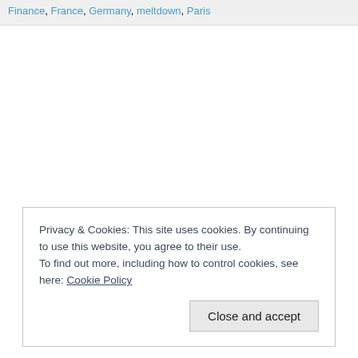Finance, France, Germany, meltdown, Paris
Privacy & Cookies: This site uses cookies. By continuing to use this website, you agree to their use.
To find out more, including how to control cookies, see here: Cookie Policy
Close and accept